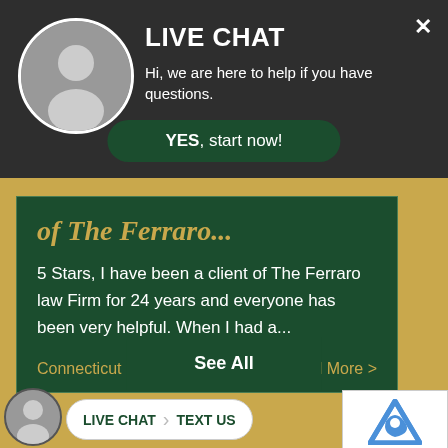LIVE CHAT
Hi, we are here to help if you have questions.
YES, start now!
of The Ferraro...
5 Stars, I have been a client of The Ferraro law Firm for 24 years and everyone has been very helpful. When I had a...
Connecticut
Read More >
See All
LIVE CHAT | TEXT US